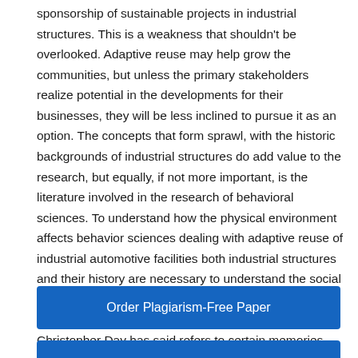sponsorship of sustainable projects in industrial structures. This is a weakness that shouldn't be overlooked. Adaptive reuse may help grow the communities, but unless the primary stakeholders realize potential in the developments for their businesses, they will be less inclined to pursue it as an option. The concepts that form sprawl, with the historic backgrounds of industrial structures do add value to the research, but equally, if not more important, is the literature involved in the research of behavioral sciences. To understand how the physical environment affects behavior sciences dealing with adaptive reuse of industrial automotive facilities both industrial structures and their history are necessary to understand the social history and 'spirit-of-place' engaged with industrial structures and ownership. The 'spirit of place' is a term Christopher Day has said refers to certain memories, beliefs
[Figure (other): Blue button labeled 'Order Plagiarism-Free Paper']
[Figure (other): Blue button (partially visible at bottom)]